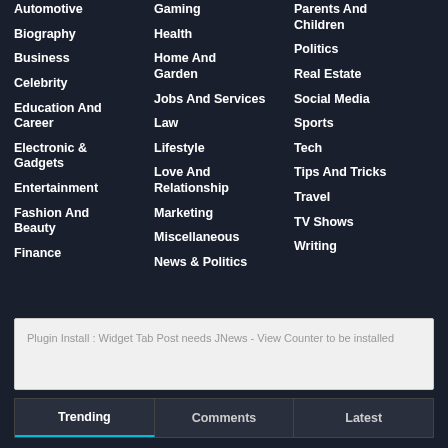Automotive
Biography
Business
Celebrity
Education And Career
Electronic & Gadgets
Entertainment
Fashion And Beauty
Finance
Gaming
Health
Home And Garden
Jobs And Services
Law
Lifestyle
Love And Relationship
Marketing
Miscellaneous
News & Politics
Parents And Children
Politics
Real Estate
Social Media
Sports
Tech
Tips And Tricks
Travel
TV Shows
Writing
Plugin Install : Widget Tab Post needs JNews - View Counter to be installed
Trending | Comments | Latest